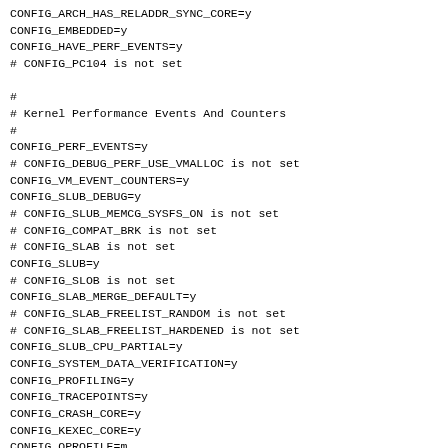CONFIG_ARCH_HAS_RELADDR_SYNC_CORE=y
CONFIG_EMBEDDED=y
CONFIG_HAVE_PERF_EVENTS=y
# CONFIG_PC104 is not set

#
# Kernel Performance Events And Counters
#
CONFIG_PERF_EVENTS=y
# CONFIG_DEBUG_PERF_USE_VMALLOC is not set
CONFIG_VM_EVENT_COUNTERS=y
CONFIG_SLUB_DEBUG=y
# CONFIG_SLUB_MEMCG_SYSFS_ON is not set
# CONFIG_COMPAT_BRK is not set
# CONFIG_SLAB is not set
CONFIG_SLUB=y
# CONFIG_SLOB is not set
CONFIG_SLAB_MERGE_DEFAULT=y
# CONFIG_SLAB_FREELIST_RANDOM is not set
# CONFIG_SLAB_FREELIST_HARDENED is not set
CONFIG_SLUB_CPU_PARTIAL=y
CONFIG_SYSTEM_DATA_VERIFICATION=y
CONFIG_PROFILING=y
CONFIG_TRACEPOINTS=y
CONFIG_CRASH_CORE=y
CONFIG_KEXEC_CORE=y
CONFIG_OPROFILE=m
CONFIG_OPROFILE_EVENT_MULTIPLEX=y
CONFIG_HAVE_OPROFILE=y
CONFIG_OPROFILE_NMI_TIMER=y
CONFIG_KPROBES=y